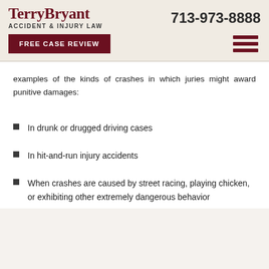TerryBryant ACCIDENT & INJURY LAW | 713-973-8888
examples of the kinds of crashes in which juries might award punitive damages:
In drunk or drugged driving cases
In hit-and-run injury accidents
When crashes are caused by street racing, playing chicken, or exhibiting other extremely dangerous behavior